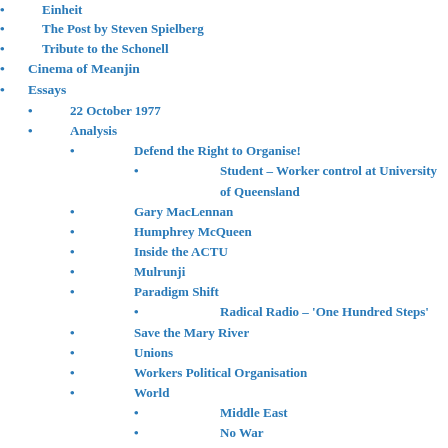The Post by Steven Spielberg
Tribute to the Schonell
Cinema of Meanjin
Essays
22 October 1977
Analysis
Defend the Right to Organise!
Student – Worker control at University of Queensland
Gary MacLennan
Humphrey McQueen
Inside the ACTU
Mulrunji
Paradigm Shift
Radical Radio – 'One Hundred Steps'
Save the Mary River
Unions
Workers Political Organisation
World
Middle East
No War
Barefoot in the bank ...
BushTelegraph Zine
Foco Nuevo
UC's